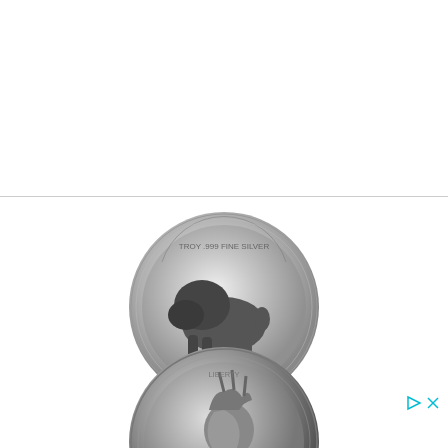[Figure (photo): Advertisement banner showing three coins stacked vertically: top coin is a silver buffalo/bison round (obverse showing buffalo, text 'TROY .999 FINE SILVER'), middle coin is a silver coin showing Native American profile (obverse), bottom coin is a gold buffalo coin showing a lion/buffalo profile. Small cyan play button and X close button icons appear in the top-right corner of the ad banner.]